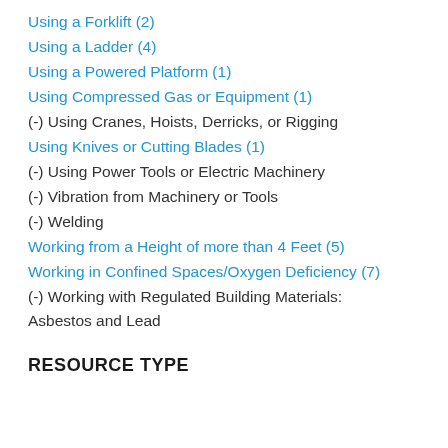Using a Forklift (2)
Using a Ladder (4)
Using a Powered Platform (1)
Using Compressed Gas or Equipment (1)
(-) Using Cranes, Hoists, Derricks, or Rigging
Using Knives or Cutting Blades (1)
(-) Using Power Tools or Electric Machinery
(-) Vibration from Machinery or Tools
(-) Welding
Working from a Height of more than 4 Feet (5)
Working in Confined Spaces/Oxygen Deficiency (7)
(-) Working with Regulated Building Materials: Asbestos and Lead
RESOURCE TYPE